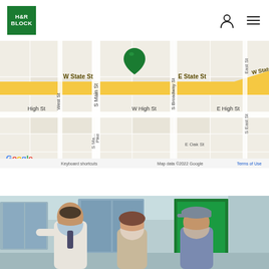[Figure (logo): H&R Block green logo]
[Figure (map): Google Maps screenshot showing street map centered on W State St / E State St with location pin. Streets visible: W State St, E State St, W State Rd 38, S Main St, West St, S Broadway St, W High St, E High St, S East St, East St, Pike. Map data ©2022 Google.]
[Figure (photo): Photo of three people at an H&R Block location, two clients wearing masks talking with a tax professional wearing a mask, with a green H&R Block display in the background.]